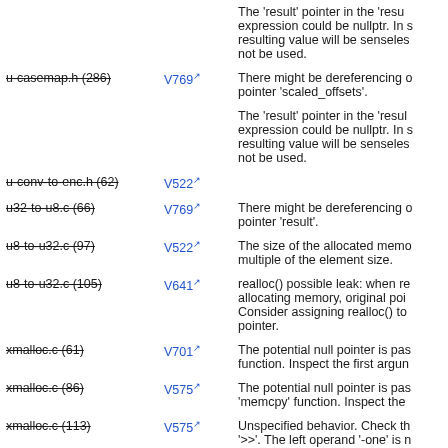u-casemap.h (286) | V769 | The 'result' pointer in the 'result' expression could be nullptr. In such case resulting value will be senseless and should not be used.
u-conv-to-enc.h (62) | V522 | There might be dereferencing of a null pointer 'scaled_offsets'.
u32-to-u8.c (66) | V769 | The 'result' pointer in the 'result' expression could be nullptr. In such case resulting value will be senseless and should not be used.
u8-to-u32.c (97) | V522 | There might be dereferencing of a null pointer 'result'.
u8-to-u32.c (105) | V641 | The size of the allocated memory is not a multiple of the element size.
xmalloc.c (61) | V701 | realloc() possible leak: when reallocating memory, original pointer is lost. Consider assigning realloc() to a temporary pointer.
xmalloc.c (86) | V575 | The potential null pointer is passed into function. Inspect the first argument.
xmalloc.c (113) | V575 | The potential null pointer is passed into 'memcpy' function. Inspect the first argument.
mktime.c (142) | V610 | Unspecified behavior. Check the '>>'. The left operand '-one' is negative.
mktime.c (143) | V547 | Expression ...